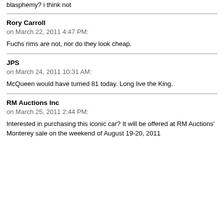blasphemy? i think not
Rory Carroll
on March 22, 2011 4:47 PM:
Fuchs rims are not, nor do they look cheap.
JPS
on March 24, 2011 10:31 AM:
McQueen would have turned 81 today. Long live the King.
RM Auctions Inc
on March 25, 2011 2:44 PM:
Interested in purchasing this iconic car? It will be offered at RM Auctions' Monterey sale on the weekend of August 19-20, 2011